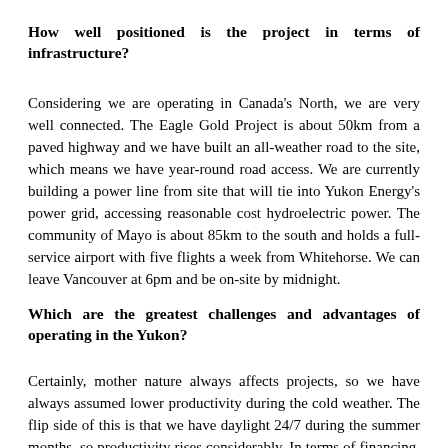How well positioned is the project in terms of infrastructure?
Considering we are operating in Canada's North, we are very well connected. The Eagle Gold Project is about 50km from a paved highway and we have built an all-weather road to the site, which means we have year-round road access. We are currently building a power line from site that will tie into Yukon Energy's power grid, accessing reasonable cost hydroelectric power. The community of Mayo is about 85km to the south and holds a full-service airport with five flights a week from Whitehorse. We can leave Vancouver at 6pm and be on-site by midnight.
Which are the greatest challenges and advantages of operating in the Yukon?
Certainly, mother nature always affects projects, so we have always assumed lower productivity during the cold weather. The flip side of this is that we have daylight 24/7 during the summer months, so productivity rises considerably. In terms of financing, the Yukon has the same federal program for flow-through financing, however certain provinces have an add-on to this, which BC, Ontario and Quebec have. The Yukon has a very small tax base with only 37,000